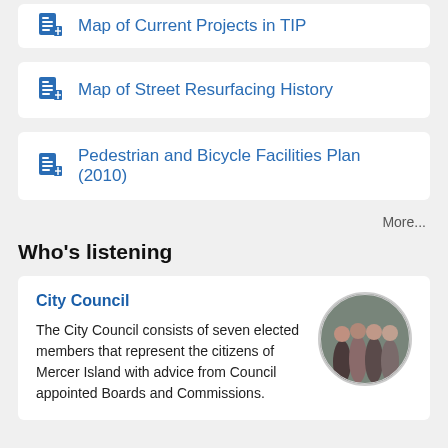Map of Current Projects in TIP
Map of Street Resurfacing History
Pedestrian and Bicycle Facilities Plan (2010)
More...
Who's listening
City Council
The City Council consists of seven elected members that represent the citizens of Mercer Island with advice from Council appointed Boards and Commissions.
[Figure (photo): Circular cropped group photo of City Council members standing together]